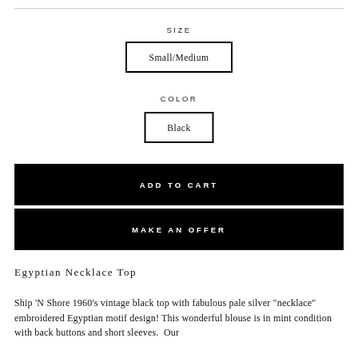SIZE
Small/Medium
COLOR
Black
ADD TO CART
MAKE AN OFFER
Egyptian Necklace Top
Ship 'N Shore 1960's vintage black top with fabulous pale silver "necklace" embroidered Egyptian motif design! This wonderful blouse is in mint condition with back buttons and short sleeves.  Our